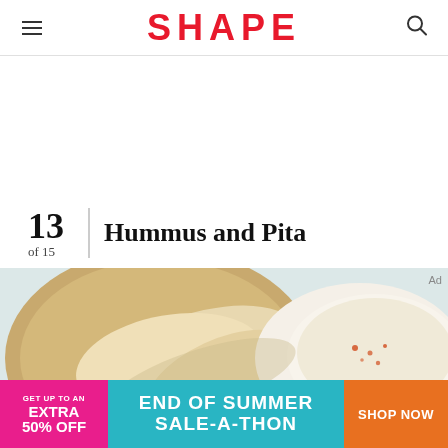SHAPE
13 of 15  Hummus and Pita
[Figure (photo): Close-up photo of hummus in a white bowl and pita bread on a wooden board, light background]
[Figure (infographic): Bottom advertisement banner: pink left section 'GET UP TO AN EXTRA 50% OFF', teal center 'END OF SUMMER SALE-A-THON', orange right button 'SHOP NOW']